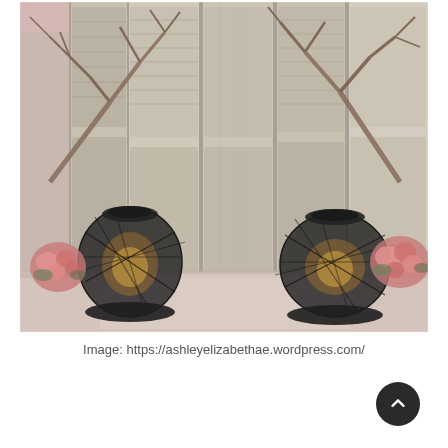[Figure (photo): Rustic wedding decor photo showing a distressed white wooden folding screen/room divider in the background, flanked by two large dark wicker/rattan lanterns with candles inside, driftwood branches, and pink floral arrangements on a light pink surface.]
Image: https://ashleyelizabethae.wordpress.com/